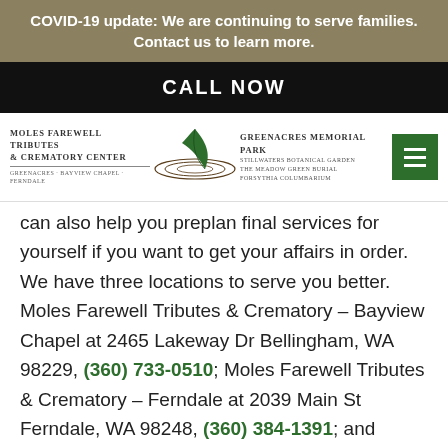COVID-19 update: We are continuing to serve families. Contact us to learn more.
CALL NOW
[Figure (logo): Moles Farewell Tributes & Crematory Center / Greenacres Memorial Park logos with leaf graphic]
can also help you preplan final services for yourself if you want to get your affairs in order. We have three locations to serve you better. Moles Farewell Tributes & Crematory – Bayview Chapel at 2465 Lakeway Dr Bellingham, WA 98229, (360) 733-0510; Moles Farewell Tributes & Crematory – Ferndale at 2039 Main St Ferndale, WA 98248, (360) 384-1391; and Moles Farewell Tributes &